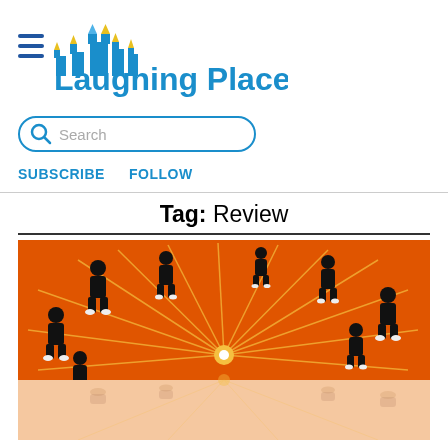[Figure (logo): Laughing Place website logo with castle silhouette and hamburger menu icon, blue text]
[Figure (screenshot): Search bar with magnifying glass icon and placeholder text 'Search', blue rounded border]
SUBSCRIBE   FOLLOW
Tag: Review
[Figure (illustration): Orange and black graphic showing stylized silhouetted figures radiating outward from a central explosion point, with a light orange reflection below]